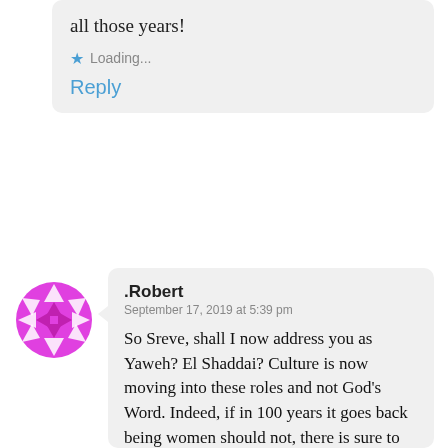all those years!
Loading...
Reply
[Figure (illustration): Magenta/pink geometric circular avatar icon with star/flower pattern]
.Robert
September 17, 2019 at 5:39 pm
So Sreve, shall I now address you as Yaweh? El Shaddai? Culture is now moving into these roles and not God’s Word. Indeed, if in 100 years it goes back being women should not, there is sure to be another Steve around to promote it. God’s Word has not changed,